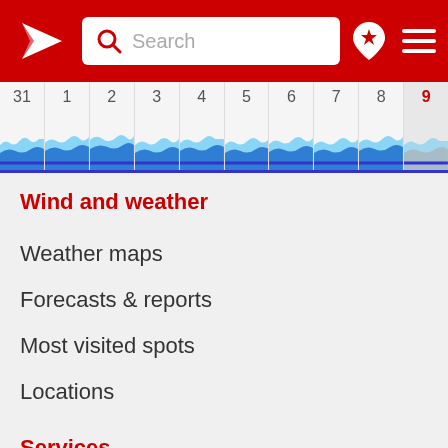[Figure (screenshot): Website header with red background, Windfinder logo, search bar, location pin icon, and hamburger menu]
[Figure (other): Calendar strip showing days 31, 1, 2, 3, 4, 5, 6, 7, 8, 9 with wave/wind illustrations and a blue bar at the bottom]
Wind and weather
Weather maps
Forecasts & reports
Most visited spots
Locations
Services
Help & FAQs
Windfinder apps
Historical weather data
Weather widgets